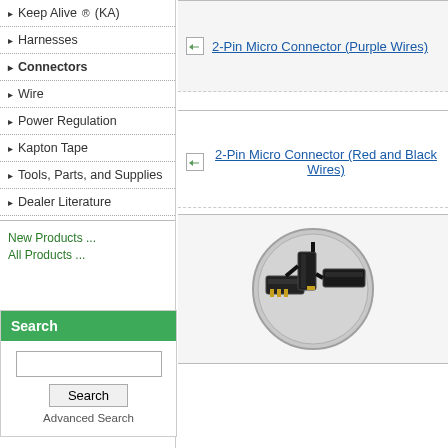Keep Alive® (KA)
Harnesses
Connectors
Wire
Power Regulation
Kapton Tape
Tools, Parts, and Supplies
Dealer Literature
New Products ...
All Products ...
Search
Advanced Search
2-Pin Micro Connector (Purple Wires)
2-Pin Micro Connector (Red and Black Wires)
[Figure (photo): Photo of 2-Pin Micro Connector (Red and Black Wires) shown next to a coin for size reference, showing black plastic connectors with gold pins]